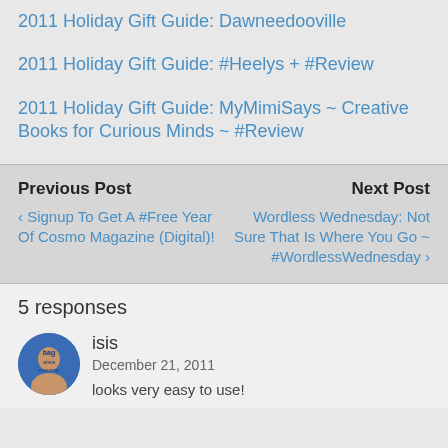2011 Holiday Gift Guide: Dawneedooville
2011 Holiday Gift Guide: #Heelys + #Review
2011 Holiday Gift Guide: MyMimiSays ~ Creative Books for Curious Minds ~ #Review
Previous Post
Next Post
‹ Signup To Get A #Free Year Of Cosmo Magazine (Digital)!
Wordless Wednesday: Not Sure That Is Where You Go ~ #WordlessWednesday ›
5 responses
isis
December 21, 2011
looks very easy to use!